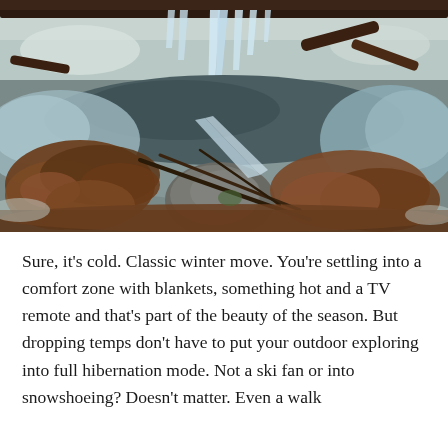[Figure (photo): A winter nature scene showing icicles hanging from a log or wooden structure over a partially frozen stream bed with rocks, dead leaves, ice formations, and flowing water visible beneath.]
Sure, it's cold. Classic winter move. You're settling into a comfort zone with blankets, something hot and a TV remote and that's part of the beauty of the season. But dropping temps don't have to put your outdoor exploring into full hibernation mode. Not a ski fan or into snowshoeing? Doesn't matter. Even a walk